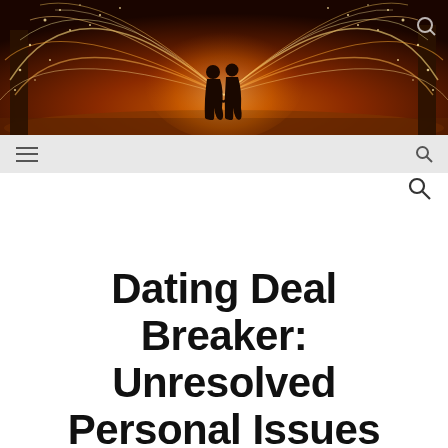[Figure (photo): Two silhouetted figures standing together under arcs of golden sparks/steel wool spinning, dramatic orange and yellow light, dark background with trees]
≡  🔍
Dating Deal Breaker: Unresolved Personal Issues